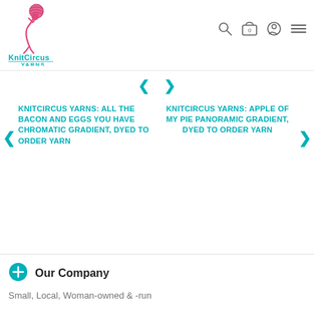[Figure (logo): KnitCircus Yarns logo: a pink illustrated figure holding a yarn ball above their head, with 'KnitCircus' in teal and 'YARNS' below]
[Figure (other): Navigation icons: search magnifying glass, shopping cart with '0' badge, account/user circle, hamburger menu]
[Figure (other): Carousel navigation left and right arrow chevrons]
KNITCIRCUS YARNS: ALL THE BACON AND EGGS YOU HAVE CHROMATIC GRADIENT, DYED TO ORDER YARN
KNITCIRCUS YARNS: APPLE OF MY PIE PANORAMIC GRADIENT, DYED TO ORDER YARN
Our Company
Small, Local, Woman-owned & -run